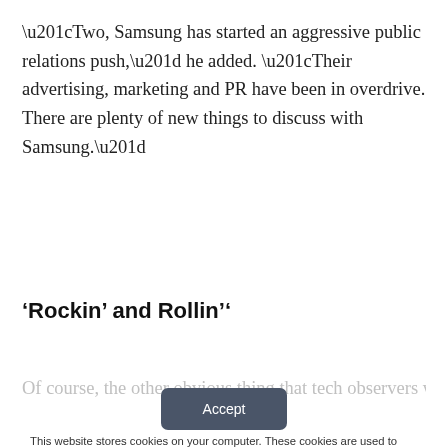“Two, Samsung has started an aggressive public relations push,” he added. “Their advertising, marketing and PR have been in overdrive. There are plenty of new things to discuss with Samsung.”
‘Rockin’ and Rollin’‘
This website stores cookies on your computer. These cookies are used to collect information about how you interact with our website and allow us to remember you. We use this information in order to improve and customize your browsing experience and for analytics and metrics about our visitors both on this website and other media. To find out more about the cookies we use, see our Privacy Policy. California residents have the right to direct us not to sell their personal information to third parties by filing an Opt-Out Request: Do Not Sell My Personal Info.